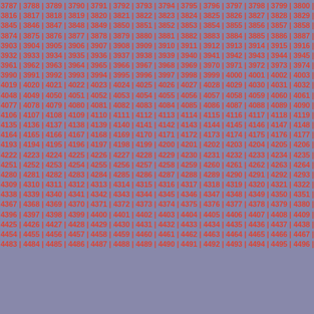3787 | 3788 | 3789 | 3790 | 3791 | 3792 | 3793 | 3794 | 3795 | 3796 | 3797 | 3798 | 3799 | 3800 | 3801
3816 | 3817 | 3818 | 3819 | 3820 | 3821 | 3822 | 3823 | 3824 | 3825 | 3826 | 3827 | 3828 | 3829 | 3830
3845 | 3846 | 3847 | 3848 | 3849 | 3850 | 3851 | 3852 | 3853 | 3854 | 3855 | 3856 | 3857 | 3858 | 3859
3874 | 3875 | 3876 | 3877 | 3878 | 3879 | 3880 | 3881 | 3882 | 3883 | 3884 | 3885 | 3886 | 3887 | 3888
3903 | 3904 | 3905 | 3906 | 3907 | 3908 | 3909 | 3910 | 3911 | 3912 | 3913 | 3914 | 3915 | 3916 | 3917
3932 | 3933 | 3934 | 3935 | 3936 | 3937 | 3938 | 3939 | 3940 | 3941 | 3942 | 3943 | 3944 | 3945 | 3946
3961 | 3962 | 3963 | 3964 | 3965 | 3966 | 3967 | 3968 | 3969 | 3970 | 3971 | 3972 | 3973 | 3974 | 3975
3990 | 3991 | 3992 | 3993 | 3994 | 3995 | 3996 | 3997 | 3998 | 3999 | 4000 | 4001 | 4002 | 4003 | 4004
4019 | 4020 | 4021 | 4022 | 4023 | 4024 | 4025 | 4026 | 4027 | 4028 | 4029 | 4030 | 4031 | 4032 | 4033
4048 | 4049 | 4050 | 4051 | 4052 | 4053 | 4054 | 4055 | 4056 | 4057 | 4058 | 4059 | 4060 | 4061 | 4062
4077 | 4078 | 4079 | 4080 | 4081 | 4082 | 4083 | 4084 | 4085 | 4086 | 4087 | 4088 | 4089 | 4090 | 4091
4106 | 4107 | 4108 | 4109 | 4110 | 4111 | 4112 | 4113 | 4114 | 4115 | 4116 | 4117 | 4118 | 4119 | 4120
4135 | 4136 | 4137 | 4138 | 4139 | 4140 | 4141 | 4142 | 4143 | 4144 | 4145 | 4146 | 4147 | 4148 | 4149
4164 | 4165 | 4166 | 4167 | 4168 | 4169 | 4170 | 4171 | 4172 | 4173 | 4174 | 4175 | 4176 | 4177 | 4178
4193 | 4194 | 4195 | 4196 | 4197 | 4198 | 4199 | 4200 | 4201 | 4202 | 4203 | 4204 | 4205 | 4206 | 4207
4222 | 4223 | 4224 | 4225 | 4226 | 4227 | 4228 | 4229 | 4230 | 4231 | 4232 | 4233 | 4234 | 4235 | 4236
4251 | 4252 | 4253 | 4254 | 4255 | 4256 | 4257 | 4258 | 4259 | 4260 | 4261 | 4262 | 4263 | 4264 | 4265
4280 | 4281 | 4282 | 4283 | 4284 | 4285 | 4286 | 4287 | 4288 | 4289 | 4290 | 4291 | 4292 | 4293 | 4294
4309 | 4310 | 4311 | 4312 | 4313 | 4314 | 4315 | 4316 | 4317 | 4318 | 4319 | 4320 | 4321 | 4322 | 4323
4338 | 4339 | 4340 | 4341 | 4342 | 4343 | 4344 | 4345 | 4346 | 4347 | 4348 | 4349 | 4350 | 4351 | 4352
4367 | 4368 | 4369 | 4370 | 4371 | 4372 | 4373 | 4374 | 4375 | 4376 | 4377 | 4378 | 4379 | 4380 | 4381
4396 | 4397 | 4398 | 4399 | 4400 | 4401 | 4402 | 4403 | 4404 | 4405 | 4406 | 4407 | 4408 | 4409 | 4410
4425 | 4426 | 4427 | 4428 | 4429 | 4430 | 4431 | 4432 | 4433 | 4434 | 4435 | 4436 | 4437 | 4438 | 4439
4454 | 4455 | 4456 | 4457 | 4458 | 4459 | 4460 | 4461 | 4462 | 4463 | 4464 | 4465 | 4466 | 4467 | 4468
4483 | 4484 | 4485 | 4486 | 4487 | 4488 | 4489 | 4490 | 4491 | 4492 | 4493 | 4494 | 4495 | 4496 | 4497